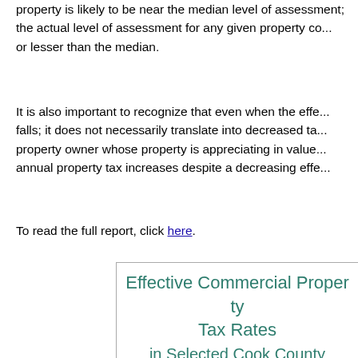property is likely to be near the median level of assessment; the actual level of assessment for any given property could be greater or lesser than the median.
It is also important to recognize that even when the effective rate falls; it does not necessarily translate into decreased taxes for a property owner whose property is appreciating in value — they will pay annual property tax increases despite a decreasing effective rate.
To read the full report, click here.
[Figure (other): Box titled 'Effective Commercial Property Tax Rates in Selected Cook County Communities' showing Change 2007-20XX with Chicago 63.6% and Elk Grove Village 71.1%]